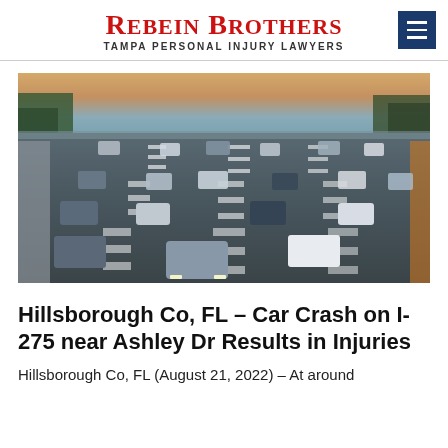REBEIN BROTHERS
TAMPA PERSONAL INJURY LAWYERS
[Figure (photo): Aerial view of a multi-lane highway with many cars traveling at dusk or dawn, showing heavy traffic across multiple lanes divided by white dashed lines, with trees and city infrastructure visible on the sides.]
Hillsborough Co, FL – Car Crash on I-275 near Ashley Dr Results in Injuries
Hillsborough Co, FL (August 21, 2022) – At around